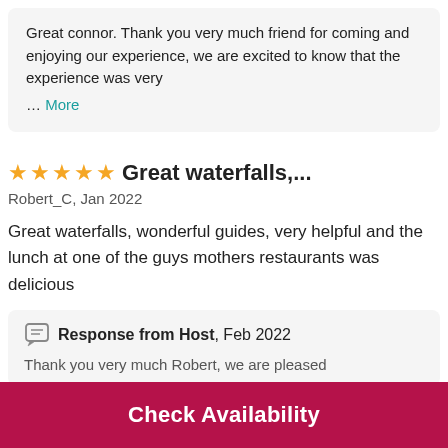Great connor. Thank you very much friend for coming and enjoying our experience, we are excited to know that the experience was very … More
★★★★★ Great waterfalls,...
Robert_C, Jan 2022
Great waterfalls, wonderful guides, very helpful and the lunch at one of the guys mothers restaurants was delicious
Response from Host, Feb 2022
Thank you very much Robert, we are pleased
Check Availability